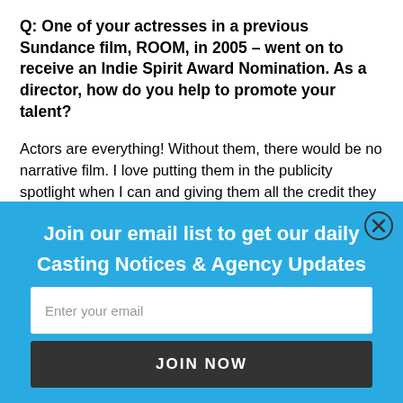Q: One of your actresses in a previous Sundance film, ROOM, in 2005 – went on to receive an Indie Spirit Award Nomination. As a director, how do you help to promote your talent?
Actors are everything! Without them, there would be no narrative film. I love putting them in the publicity spotlight when I can and giving them all the credit they are due. For example, Jose Villarreal, our lead in FOURPLAY: TAMPA, is insanely funny and totally heartbreaking in this role. We hope he'll get some great character work out of this. He's the kind of
[Figure (screenshot): Blue overlay popup with 'Join our email list to get our daily Casting Notices & Agency Updates', an email input field, and a JOIN NOW button. Includes a close (X) button in the top right corner.]